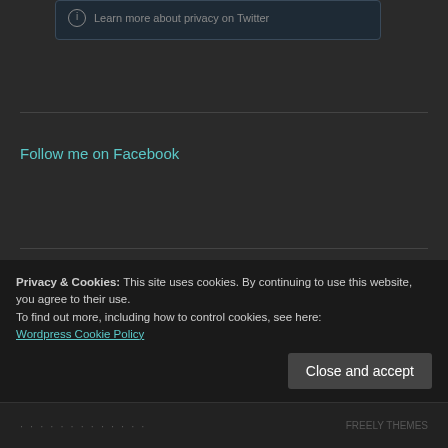Learn more about privacy on Twitter
Follow me on Facebook
Missed a previous article?
Select Month
Privacy & Cookies: This site uses cookies. By continuing to use this website, you agree to their use.
To find out more, including how to control cookies, see here:
Wordpress Cookie Policy
Close and accept